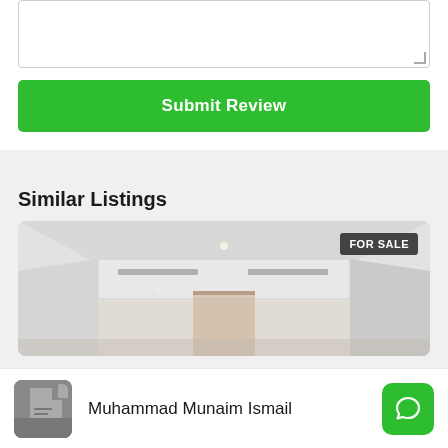[Figure (screenshot): Empty textarea input field with resize handle at bottom-right corner]
Submit Review
Similar Listings
[Figure (photo): Interior photo of a white room/hallway with ceiling AC unit, FOR SALE badge in top-right corner]
Muhammad Munaim Ismail